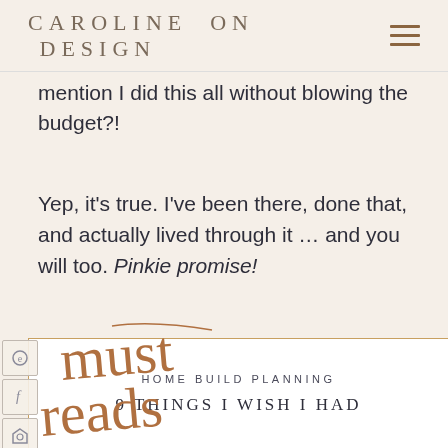CAROLINE ON DESIGN
mention I did this all without blowing the budget?!
Yep, it's true. I've been there, done that, and actually lived through it … and you will too. Pinkie promise!
[Figure (illustration): Handwritten cursive script in golden-brown color reading 'must reads' with a decorative flourish]
HOME BUILD PLANNING
9 THINGS I WISH I HAD